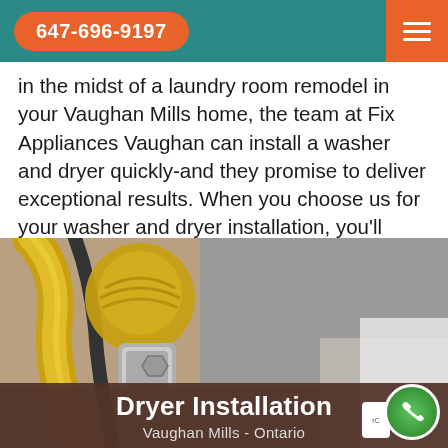647-696-9197
in the midst of a laundry room remodel in your Vaughan Mills home, the team at Fix Appliances Vaughan can install a washer and dryer quickly-and they promise to deliver exceptional results. When you choose us for your washer and dryer installation, you'll experience countless benefits and quality service.
[Figure (photo): Close-up photo of a yellow flexible gas hose connector and metal fitting attached to an appliance, with a hand visible in the lower right corner.]
Dryer Installation
Vaughan Mills - Ontario